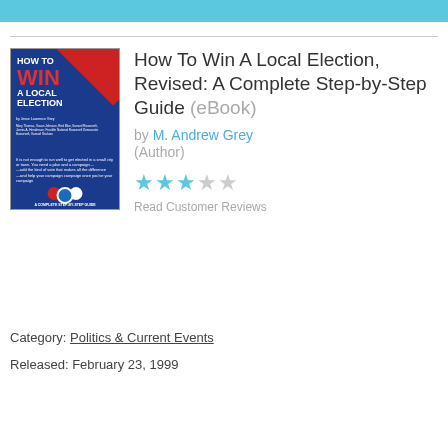[Figure (illustration): Book cover for 'How To Win A Local Election' with blue background, red diagonal stripe, red WIN text, and red/white/blue circular badge at bottom.]
How To Win A Local Election, Revised: A Complete Step-by-Step Guide (eBook)
by M. Andrew Grey (Author)
[Figure (other): 3 out of 5 stars rating shown as star icons]
Read Customer Reviews
Category: Politics & Current Events
Released: February 23, 1999